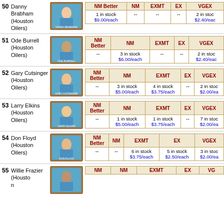50 Danny Brabham (Houston Oilers)
| NM Better | NM | EXMT | EX | VGEX |
| --- | --- | --- | --- | --- |
| 1 in stock $9.00/each | -- | -- | -- | 2 in stock $2.40/each |
51 Ode Burrell (Houston Oilers)
| NM Better | NM | EXMT | EX | VGEX |
| --- | --- | --- | --- | --- |
| -- | 3 in stock $6.00/each | -- | -- | 2 in stock $2.40/each |
52 Gary Cutsinger (Houston Oilers)
| NM Better | NM | EXMT | EX | VGEX |
| --- | --- | --- | --- | --- |
| -- | 3 in stock $5.00/each | 4 in stock $3.75/each | -- | 2 in stock $2.00/each |
53 Larry Elkins (Houston Oilers)
| NM Better | NM | EXMT | EX | VGEX |
| --- | --- | --- | --- | --- |
| -- | 1 in stock $5.00/each | 1 in stock $3.75/each | -- | 7 in stock $2.00/each |
54 Don Floyd (Houston Oilers)
| NM Better | NM | EXMT | EX | VGEX |
| --- | --- | --- | --- | --- |
| -- | -- | 6 in stock $3.75/each | 5 in stock $2.50/each | 3 in stock $2.00/each |
55 Willie Frazier (Houston Oilers)